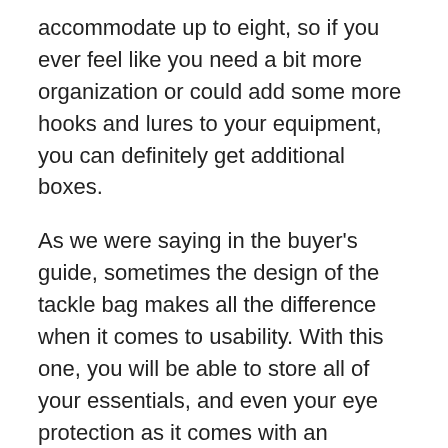accommodate up to eight, so if you ever feel like you need a bit more organization or could add some more hooks and lures to your equipment, you can definitely get additional boxes.
As we were saying in the buyer's guide, sometimes the design of the tackle bag makes all the difference when it comes to usability. With this one, you will be able to store all of your essentials, and even your eye protection as it comes with an integrated sunglass case.
Besides, the fabric that the bag is made from is water-resistant. Both the layout and the versatility of the pockets you'll find in this bag seem to impress the folks who have chosen it.
Pros